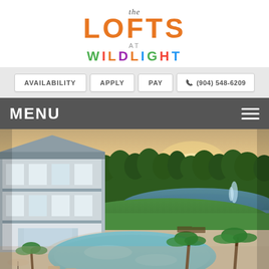the LOFTS AT WILDLIGHT
AVAILABILITY | APPLY | PAY | (904) 548-6209
MENU
[Figure (photo): Aerial view of The Lofts at Wildlight apartment community showing a large resort-style pool in the foreground with palm trees and lounge chairs, a multi-story apartment building on the left with balconies, green lawn, a lake with a fountain in the middle, and a dense tree line in the background under a colorful sunset sky.]